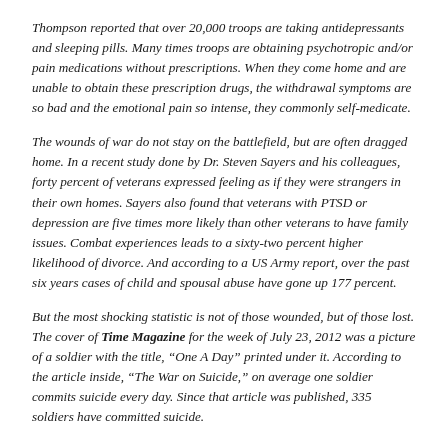Thompson reported that over 20,000 troops are taking antidepressants and sleeping pills. Many times troops are obtaining psychotropic and/or pain medications without prescriptions. When they come home and are unable to obtain these prescription drugs, the withdrawal symptoms are so bad and the emotional pain so intense, they commonly self-medicate.
The wounds of war do not stay on the battlefield, but are often dragged home. In a recent study done by Dr. Steven Sayers and his colleagues, forty percent of veterans expressed feeling as if they were strangers in their own homes. Sayers also found that veterans with PTSD or depression are five times more likely than other veterans to have family issues. Combat experiences leads to a sixty-two percent higher likelihood of divorce. And according to a US Army report, over the past six years cases of child and spousal abuse have gone up 177 percent.
But the most shocking statistic is not of those wounded, but of those lost. The cover of Time Magazine for the week of July 23, 2012 was a picture of a soldier with the title, “One A Day” printed under it. According to the article inside, “The War on Suicide,” on average one soldier commits suicide every day. Since that article was published, 335 soldiers have committed suicide.